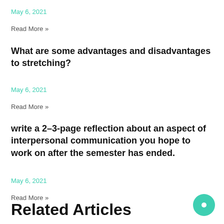May 6, 2021
Read More »
What are some advantages and disadvantages to stretching?
May 6, 2021
Read More »
write a 2–3-page reflection about an aspect of interpersonal communication you hope to work on after the semester has ended.
May 6, 2021
Read More »
Related Articles